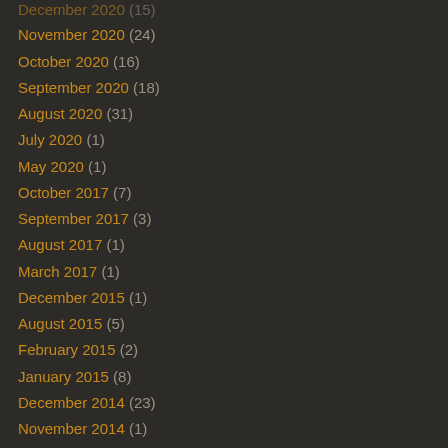November 2020 (24)
October 2020 (16)
September 2020 (18)
August 2020 (31)
July 2020 (1)
May 2020 (1)
October 2017 (7)
September 2017 (3)
August 2017 (1)
March 2017 (1)
December 2015 (1)
August 2015 (5)
February 2015 (2)
January 2015 (8)
December 2014 (23)
November 2014 (1)
October 2014 (6)
September 2014 (23)
August 2014 (37)
July 2014 (41)